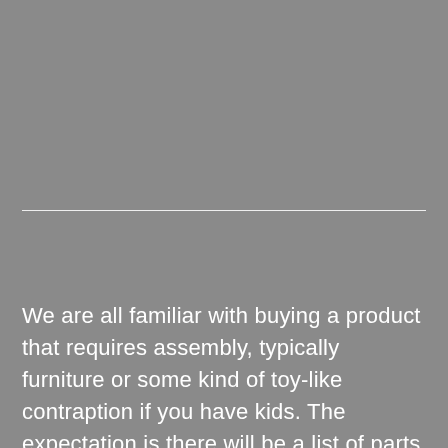[Figure (other): Gray background upper half of page with a horizontal white dividing line]
We are all familiar with buying a product that requires assembly, typically furniture or some kind of toy-like contraption if you have kids. The expectation is there will be a list of parts (all identified), a list tools necessary for the assembly, and instructions taking you step-by-